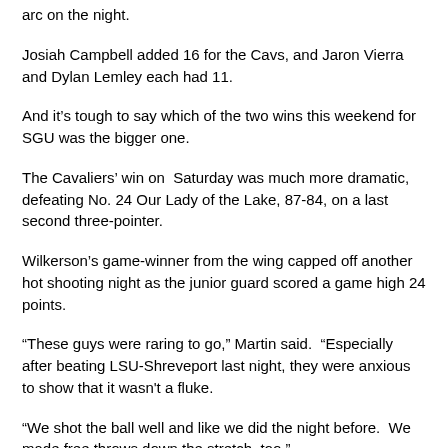arc on the night.
Josiah Campbell added 16 for the Cavs, and Jaron Vierra and Dylan Lemley each had 11.
And it’s tough to say which of the two wins this weekend for SGU was the bigger one.
The Cavaliers’ win on Saturday was much more dramatic, defeating No. 24 Our Lady of the Lake, 87-84, on a last second three-pointer.
Wilkerson’s game-winner from the wing capped off another hot shooting night as the junior guard scored a game high 24 points.
“These guys were raring to go,” Martin said. “Especially after beating LSU-Shreveport last night, they were anxious to show that it wasn't a fluke.
“We shot the ball well and like we did the night before. We made free throws down the stretch, too.”
The game was tied with 20 seconds and SGU ran the play specifically for Wilkerson, who also recorded 11 assists for a double-double.